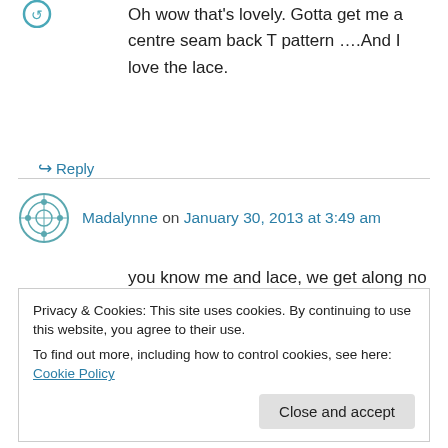Oh wow that's lovely. Gotta get me a centre seam back T pattern ….And I love the lace.
↪ Reply
Madalynne on January 30, 2013 at 3:49 am
you know me and lace, we get along no matter what.
↪ Reply
Privacy & Cookies: This site uses cookies. By continuing to use this website, you agree to their use. To find out more, including how to control cookies, see here: Cookie Policy
Close and accept